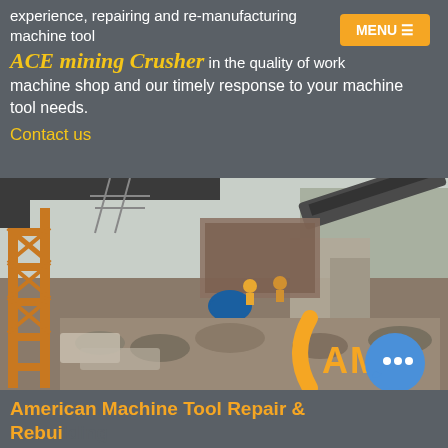ACE mining Crusher
experience, repairing and re-manufacturing machine tool equipment in the quality of work machine shop and our timely response to your machine tool needs.
Contact us
[Figure (photo): Mining crusher facility with industrial conveyor belts, machinery, workers, and an AMC logo visible in the lower right. Orange structural scaffolding on the left side.]
American Machine Tool Repair & Rebuilding Co. Inc.